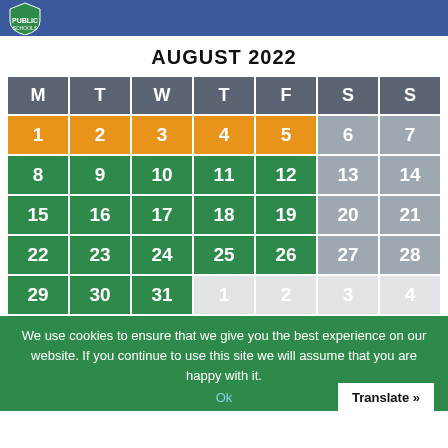Public Schools logo header
AUGUST 2022
| M | T | W | T | F | S | S |
| --- | --- | --- | --- | --- | --- | --- |
| 1 | 2 | 3 | 4 | 5 | 6 | 7 |
| 8 | 9 | 10 | 11 | 12 | 13 | 14 |
| 15 | 16 | 17 | 18 | 19 | 20 | 21 |
| 22 | 23 | 24 | 25 | 26 | 27 | 28 |
| 29 | 30 | 31 | 1 | 2 | 3 | 4 |
We use cookies to ensure that we give you the best experience on our website. If you continue to use this site we will assume that you are happy with it.
Ok
Translate »